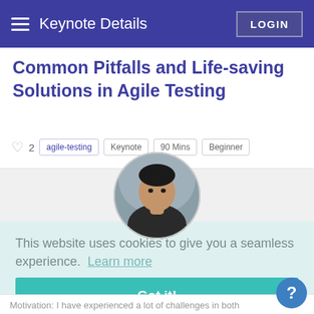Keynote Details  LOGIN
Common Pitfalls and Life-saving Solutions in Agile Testing
♡ 2  agile-testing𝐌𝐈𝐋𝐋𝐄𝐑𝐒𝐓𝐄𝐑𝐒  Keynote  90 Mins  Beginner
[Figure (photo): Circular profile photo of a speaker, a man in dark clothing against a textured background]
This website uses cookies to give you a seamless experience.  Learn more
Got it!
Motivation: I have experienced a lot of challenges in both